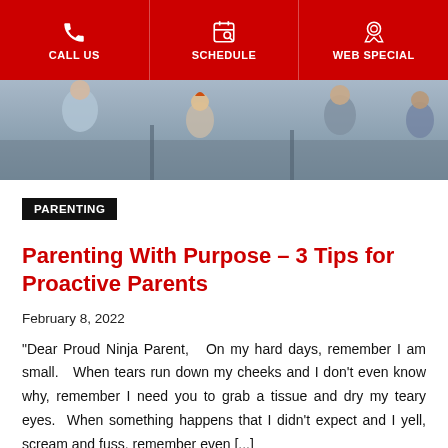CALL US | SCHEDULE | WEB SPECIAL
[Figure (photo): Hero image showing children and adults in a bright indoor setting, seemingly active or playing.]
PARENTING
Parenting With Purpose – 3 Tips for Proactive Parents
February 8, 2022
“Dear Proud Ninja Parent,   On my hard days, remember I am small.   When tears run down my cheeks and I don’t even know why, remember I need you to grab a tissue and dry my teary eyes.  When something happens that I didn’t expect and I yell, scream and fuss, remember even [...]